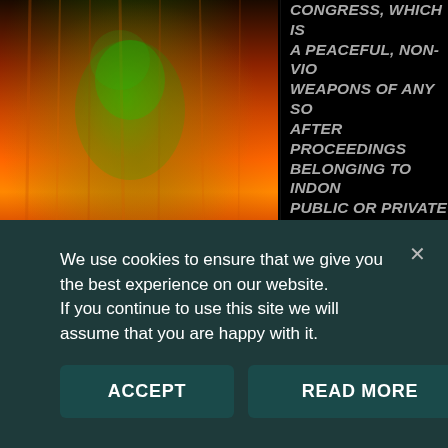[Figure (photo): Abstract image of a figure amid flames with green overlay lighting]
FORGET GENUINE, RIGHTS-RESPECTING DEMOCRACY
[Figure (photo): Black and white photograph of a building exterior with architectural details]
CONGRESS, WHICH IS A PEACEFUL, NON-VIO WEAPONS OF ANY SO AFTER PROCEEDINGS BELONGING TO INDON PUBLIC OR PRIVATE M WILL BE CONSIDERED ENFORCED.
Credits
Redaction to ...11
We use cookies to ensure that we give you the best experience on our website. If you continue to use this site we will assume that you are happy with it.
ACCEPT
READ MORE